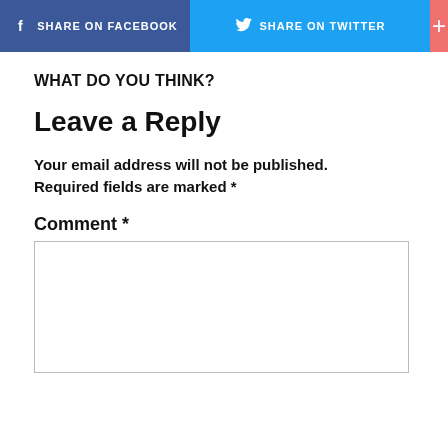[Figure (other): Social sharing buttons: Share on Facebook (blue), Share on Twitter (light blue), and a plus button (salmon/pink)]
WHAT DO YOU THINK?
Leave a Reply
Your email address will not be published. Required fields are marked *
Comment *
[Figure (other): Comment text area input box (empty), with floating heart/like button showing count of 3, and a share icon button on the right side]